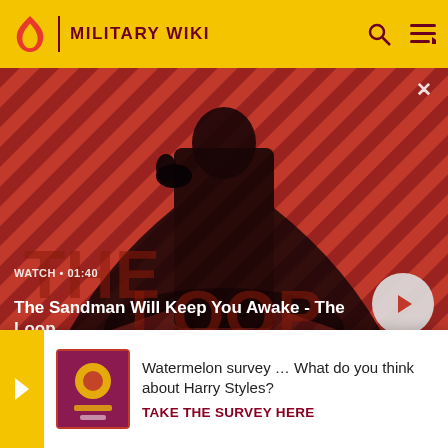MILITARY WIKI
[Figure (screenshot): Video thumbnail showing a dark-cloaked figure with a raven on shoulder against a red and black diagonal striped background. The Loop show branding is visible.]
WATCH • 01:40
The Sandman Will Keep You Awake - The Loop
fortress whose artillery pieces dominated several important bridges over the Albert Canal that German force...me of the...and disab...
[Figure (infographic): Survey popup banner: Watermelon survey image with text 'Watermelon survey … What do you think about Harry Styles? TAKE THE SURVEY HERE']